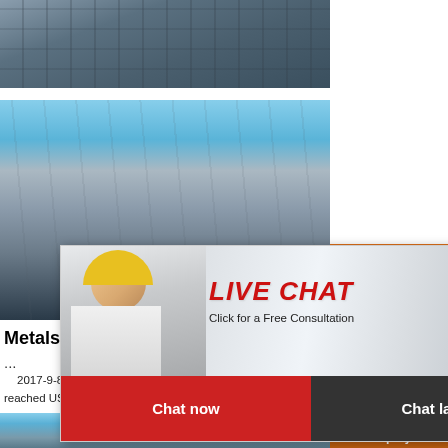[Figure (photo): Industrial steel plant / mining facility machinery, top crop]
[Figure (photo): Industrial steel plant with blue sky background, mid section]
[Figure (photo): Live chat popup with construction workers in helmets, Chat now / Chat later buttons]
[Figure (photo): Right sidebar with orange background showing mining/crushing machinery images, discount and enquiry buttons]
Metals Mini...
...
2017-9-8  Iron ore production in the country tonnes in FY21. According to Directorate Ge Intelligence Statistics, in FY22 (until August 20 reached US$ 2.23 billion, registering an increase o India had a total number of 914 steel plants produ
[Figure (photo): Bottom partial photo of industrial equipment with blue sky]